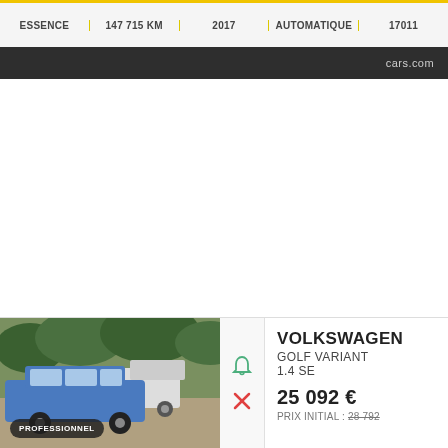| ESSENCE | 147 715 KM | 2017 | AUTOMATIQUE | 17011 |
| --- | --- | --- | --- | --- |
cars.com
[Figure (photo): Photo of a blue Volkswagen Golf Variant station wagon parked in a lot, with a white pickup truck and trees in background. Badge reads PROFESSIONNEL.]
VOLKSWAGEN
GOLF VARIANT
1.4 SE
25 092 €
PRIX INITIAL : 28 792